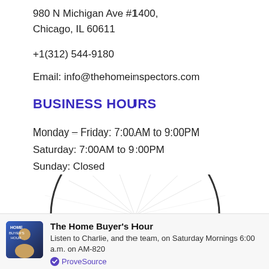980 N Michigan Ave #1400,
Chicago, IL 60611
+1(312) 544-9180
Email: info@thehomeinspectors.com
BUSINESS HOURS
Monday – Friday: 7:00AM to 9:00PM
Saturday: 7:00AM to 9:00PM
Sunday: Closed
[Figure (illustration): Partial view of a circular logo or illustration at the bottom of the main content area]
The Home Buyer's Hour
Listen to Charlie, and the team, on Saturday Mornings 6:00 a.m. on AM-820
ProveSource